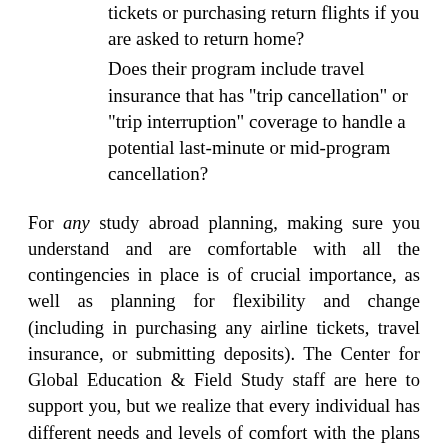tickets or purchasing return flights if you are asked to return home?
Does their program include travel insurance that has "trip cancellation" or "trip interruption" coverage to handle a potential last-minute or mid-program cancellation?
For any study abroad planning, making sure you understand and are comfortable with all the contingencies in place is of crucial importance, as well as planning for flexibility and change (including in purchasing any airline tickets, travel insurance, or submitting deposits). The Center for Global Education & Field Study staff are here to support you, but we realize that every individual has different needs and levels of comfort with the plans our partners around the world are making for study abroad program operations.